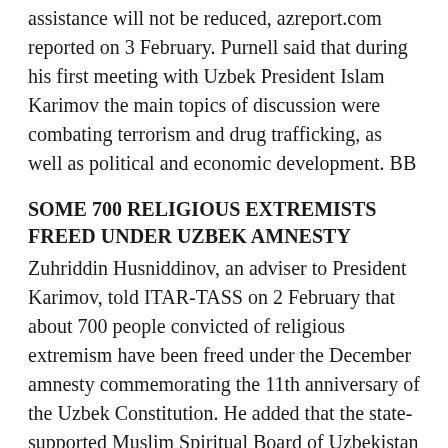assistance will not be reduced, azreport.com reported on 3 February. Purnell said that during his first meeting with Uzbek President Islam Karimov the main topics of discussion were combating terrorism and drug trafficking, as well as political and economic development. BB
SOME 700 RELIGIOUS EXTREMISTS FREED UNDER UZBEK AMNESTY
Zuhriddin Husniddinov, an adviser to President Karimov, told ITAR-TASS on 2 February that about 700 people convicted of religious extremism have been freed under the December amnesty commemorating the 11th anniversary of the Uzbek Constitution. He added that the state-supported Muslim Spiritual Board of Uzbekistan and the State Committee for Religious Affairs have been tasked with helping the former extremists to find jobs and